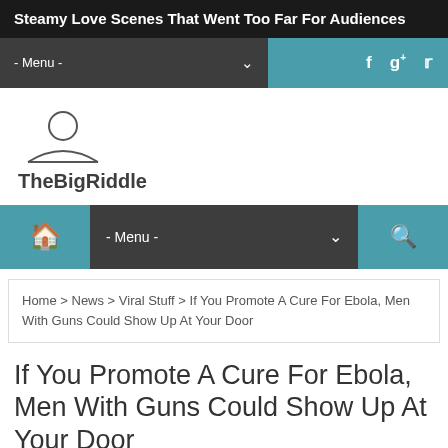Steamy Love Scenes That Went Too Far For Audiences
- Menu -
[Figure (logo): TheBigRiddle logo with person/head icon silhouette above the text TheBigRiddle]
- Menu -
Home > News > Viral Stuff > If You Promote A Cure For Ebola, Men With Guns Could Show Up At Your Door
If You Promote A Cure For Ebola, Men With Guns Could Show Up At Your Door